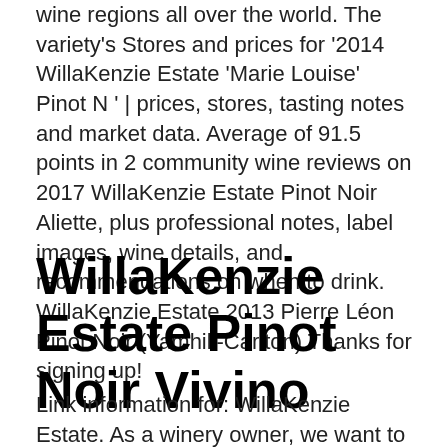wine regions all over the world. The variety's Stores and prices for '2014 WillaKenzie Estate 'Marie Louise' Pinot N ' | prices, stores, tasting notes and market data. Average of 91.5 points in 2 community wine reviews on 2017 WillaKenzie Estate Pinot Noir Aliette, plus professional notes, label images, wine details, and recommendations on when to drink. WillaKenzie Estate 2013 Pierre Léon Pinot Noir (Yamhill-Carlton) Thanks for signing up!
WillaKenzie Estate Pinot Noir Vivino
Link information for: WillaKenzie Estate. As a winery owner, we want to encourage you to link to the article, and to continue to explore the experience.